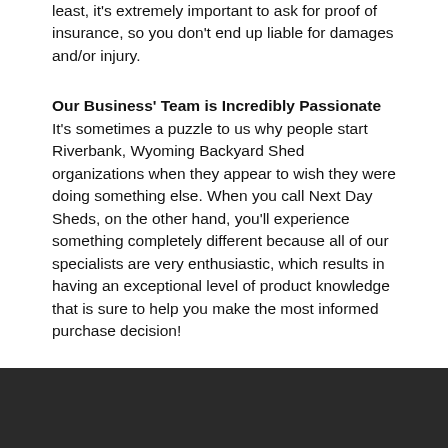least, it's extremely important to ask for proof of insurance, so you don't end up liable for damages and/or injury.
Our Business' Team is Incredibly Passionate
It's sometimes a puzzle to us why people start Riverbank, Wyoming Backyard Shed organizations when they appear to wish they were doing something else. When you call Next Day Sheds, on the other hand, you'll experience something completely different because all of our specialists are very enthusiastic, which results in having an exceptional level of product knowledge that is sure to help you make the most informed purchase decision!